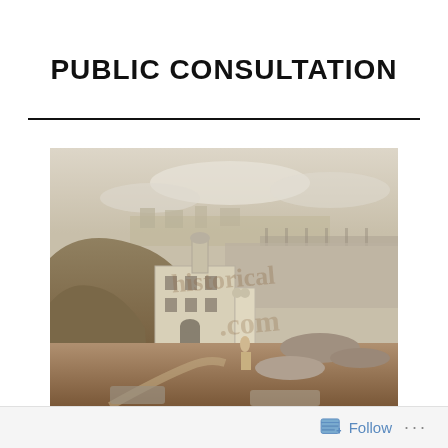PUBLIC CONSULTATION
[Figure (photo): Sepia-toned historical photograph of a coastal scene with a white multi-storey building, cliffs and hills to the left, a pier or waterfront structure in the background, rocky foreground, and a figure standing near the building. Watermark text reads 'historical' overlaid in brownish tone.]
Follow ...